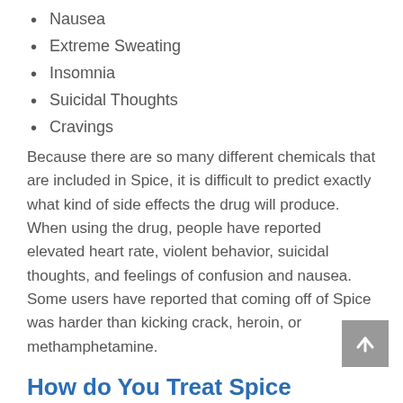Nausea
Extreme Sweating
Insomnia
Suicidal Thoughts
Cravings
Because there are so many different chemicals that are included in Spice, it is difficult to predict exactly what kind of side effects the drug will produce. When using the drug, people have reported elevated heart rate, violent behavior, suicidal thoughts, and feelings of confusion and nausea. Some users have reported that coming off of Spice was harder than kicking crack, heroin, or methamphetamine.
How do You Treat Spice Addiction?